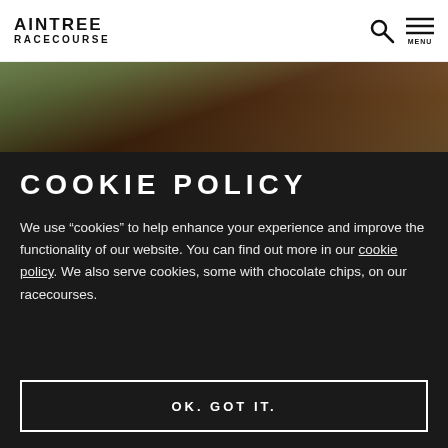AINTREE RACECOURSE
[Figure (photo): Partial view of a jockey on a horse at Aintree Racecourse, wearing green silks]
COOKIE POLICY
We use “cookies” to help enhance your experience and improve the functionality of our website. You can find out more in our cookie policy. We also serve cookies, some with chocolate chips, on our racecourses.
OK. GOT IT.